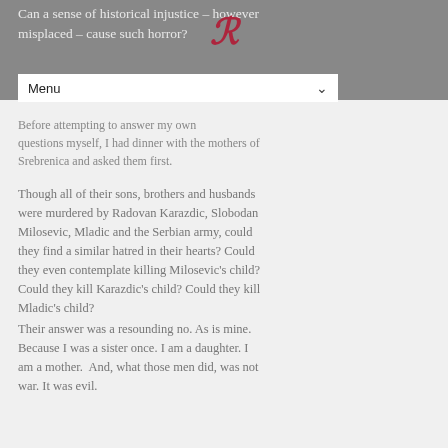Can a sense of historical injustice – however misplaced – cause such horror?
Before attempting to answer my own questions myself, I had dinner with the mothers of Srebrenica and asked them first.
Though all of their sons, brothers and husbands were murdered by Radovan Karazdic, Slobodan Milosevic, Mladic and the Serbian army, could they find a similar hatred in their hearts? Could they even contemplate killing Milosevic's child? Could they kill Karazdic's child? Could they kill Mladic's child?
Their answer was a resounding no. As is mine. Because I was a sister once. I am a daughter. I am a mother.  And, what those men did, was not war. It was evil.